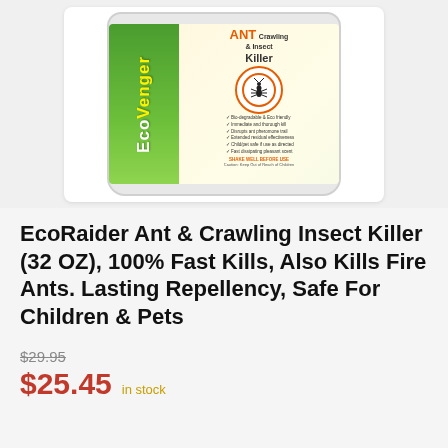[Figure (photo): EcoRaider Ant & Crawling Insect Killer 32 oz bottle with citrus scent label, showing green side panel with EcoVenger branding and white front label with ant graphic in orange circle, product details and bullet points]
EcoRaider Ant & Crawling Insect Killer (32 OZ), 100% Fast Kills, Also Kills Fire Ants. Lasting Repellency, Safe For Children & Pets
$29.95
$25.45 in stock